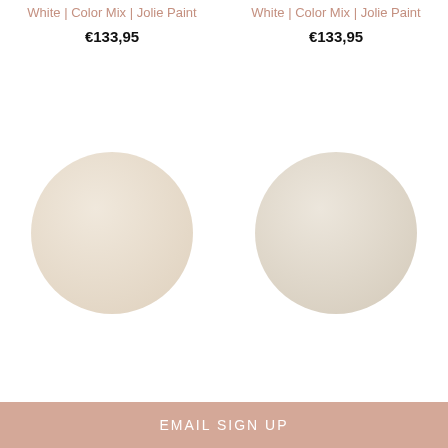White | Color Mix | Jolie Paint
€133,95
[Figure (illustration): Round paint color swatch, warm off-white ecru tone]
1 Uptown Ecru + 1 Swedish Grey | Color Mix | Jolie
White | Color Mix | Jolie Paint
€133,95
[Figure (illustration): Round paint color swatch, warm greige/antique white tone]
1 Antique White + 1 Swedish Grey | Color Mix |
EMAIL SIGN UP